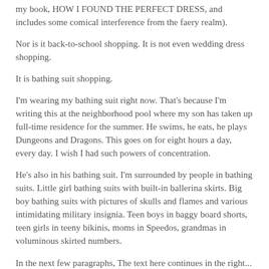my book, HOW I FOUND THE PERFECT DRESS, and includes some comical interference from the faery realm).
Nor is it back-to-school shopping. It is not even wedding dress shopping.
It is bathing suit shopping.
I'm wearing my bathing suit right now. That's because I'm writing this at the neighborhood pool where my son has taken up full-time residence for the summer. He swims, he eats, he plays Dungeons and Dragons. This goes on for eight hours a day, every day. I wish I had such powers of concentration.
He's also in his bathing suit. I'm surrounded by people in bathing suits. Little girl bathing suits with built-in ballerina skirts. Big boy bathing suits with pictures of skulls and flames and various intimidating military insignia. Teen boys in baggy board shorts, teen girls in teeny bikinis, moms in Speedos, grandmas in voluminous skirted numbers.
In the next few paragraphs, The text here continues in the right...